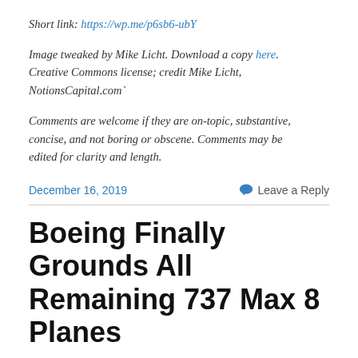Short link: https://wp.me/p6sb6-ubY
Image tweaked by Mike Licht. Download a copy here. Creative Commons license; credit Mike Licht, NotionsCapital.com`
Comments are welcome if they are on-topic, substantive, concise, and not boring or obscene. Comments may be edited for clarity and length.
December 16, 2019    Leave a Reply
Boeing Finally Grounds All Remaining 737 Max 8 Planes
[Figure (photo): Partial circular blue image at bottom of page, appears to be top of a Boeing aircraft or logo]